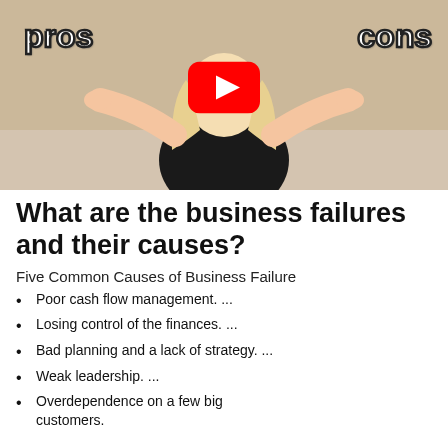[Figure (screenshot): YouTube video thumbnail showing a blonde woman in a black shirt with arms raised in a shrugging gesture, with 'pros' text on the left and 'cons' text on the right, and a YouTube play button in the center.]
What are the business failures and their causes?
Five Common Causes of Business Failure
Poor cash flow management. ...
Losing control of the finances. ...
Bad planning and a lack of strategy. ...
Weak leadership. ...
Overdependence on a few big customers.